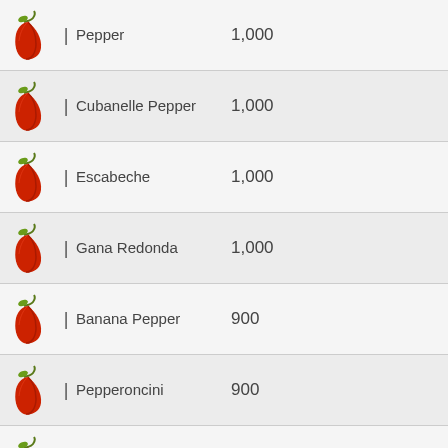Pepper | 1,000
Cubanelle Pepper | 1,000
Escabeche | 1,000
Gana Redonda | 1,000
Banana Pepper | 900
Pepperoncini | 900
El-Paso | 700